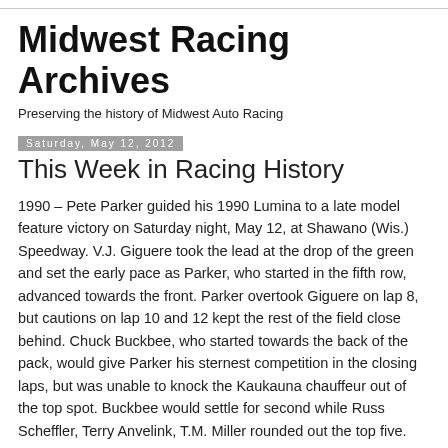Midwest Racing Archives
Preserving the history of Midwest Auto Racing
Saturday, May 12, 2012
This Week in Racing History
1990 – Pete Parker guided his 1990 Lumina to a late model feature victory on Saturday night, May 12, at Shawano (Wis.) Speedway. V.J. Giguere took the lead at the drop of the green and set the early pace as Parker, who started in the fifth row, advanced towards the front. Parker overtook Giguere on lap 8, but cautions on lap 10 and 12 kept the rest of the field close behind. Chuck Buckbee, who started towards the back of the pack, would give Parker his sternest competition in the closing laps, but was unable to knock the Kaukauna chauffeur out of the top spot. Buckbee would settle for second while Russ Scheffler, Terry Anvelink, T.M. Miller rounded out the top five.